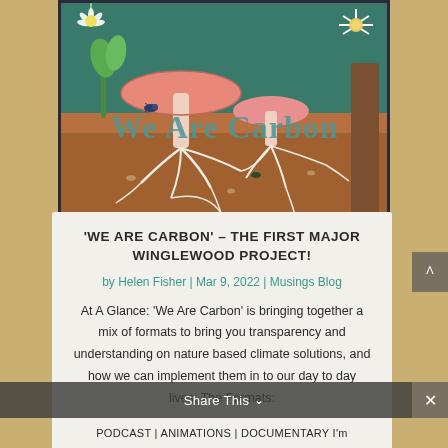[Figure (illustration): Illustrated banner image showing mushrooms, plant roots, flowers and underground ecosystem with text 'We Are Carbon' overlaid in teal lettering on a brown/earthy background]
'WE ARE CARBON' – THE FIRST MAJOR WINGLEWOOD PROJECT!
by Helen Fisher | Mar 9, 2022 | Musings Blog
At A Glance: 'We Are Carbon' is bringing together a mix of formats to bring you transparency and understanding on nature based climate solutions, and how we can implement them in to our day to day lives. The Formats: PODCAST | ANIMATIONS | DOCUMENTARY I'm